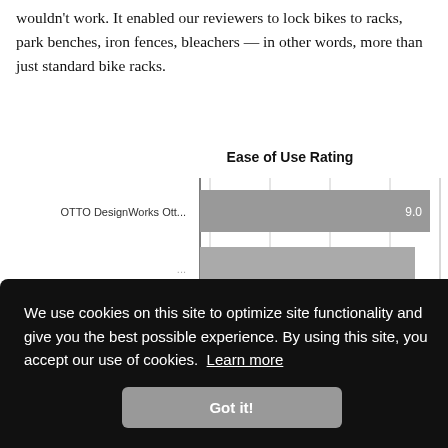wouldn't work. It enabled our reviewers to lock bikes to racks, park benches, iron fences, bleachers — in other words, more than just standard bike racks.
[Figure (bar-chart): Ease of Use Rating]
We use cookies on this site to optimize site functionality and give you the best possible experience. By using this site, you accept our use of cookies. Learn more